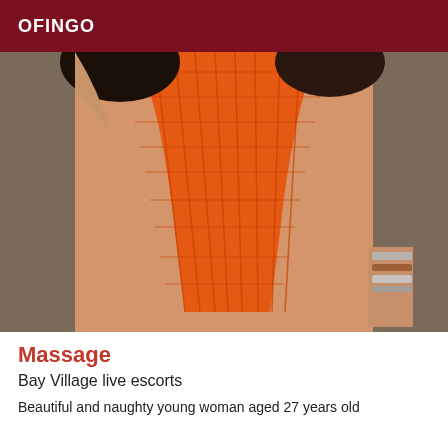OFINGO
[Figure (photo): Woman wearing an orange fishnet/mesh bodysuit, photographed from front torso view, wearing bracelets on right wrist, dark hair visible at top, outdoor stone background.]
Massage
Bay Village live escorts
Beautiful and naughty young woman aged 27 years old